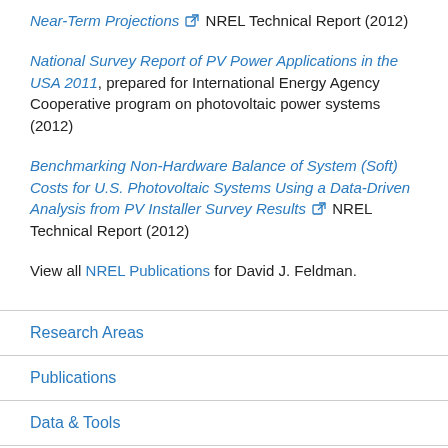Near-Term Projections [link icon] NREL Technical Report (2012)
National Survey Report of PV Power Applications in the USA 2011, prepared for International Energy Agency Cooperative program on photovoltaic power systems (2012)
Benchmarking Non-Hardware Balance of System (Soft) Costs for U.S. Photovoltaic Systems Using a Data-Driven Analysis from PV Installer Survey Results [link icon] NREL Technical Report (2012)
View all NREL Publications for David J. Feldman.
Research Areas
Publications
Data & Tools